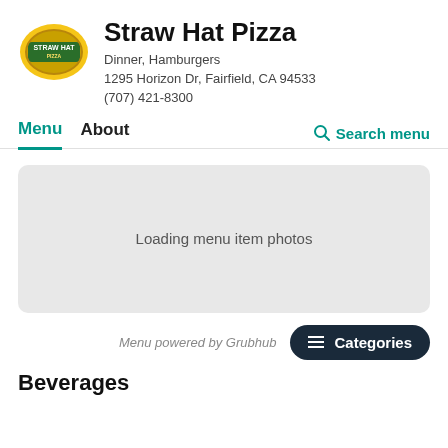[Figure (logo): Straw Hat Pizza logo — circular emblem with red, yellow, and green colors on a yellow/gold background]
Straw Hat Pizza
Dinner, Hamburgers
1295 Horizon Dr, Fairfield, CA 94533
(707) 421-8300
Menu   About
Search menu
[Figure (screenshot): Gray placeholder box with text 'Loading menu item photos']
Menu powered by Grubhub
Categories
Beverages